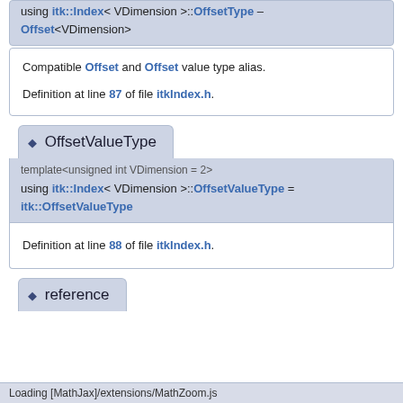using itk::Index< VDimension >::OffsetType = Offset<VDimension>
Compatible Offset and Offset value type alias.
Definition at line 87 of file itkIndex.h.
OffsetValueType
template<unsigned int VDimension = 2>
using itk::Index< VDimension >::OffsetValueType = itk::OffsetValueType
Definition at line 88 of file itkIndex.h.
reference
Loading [MathJax]/extensions/MathZoom.js